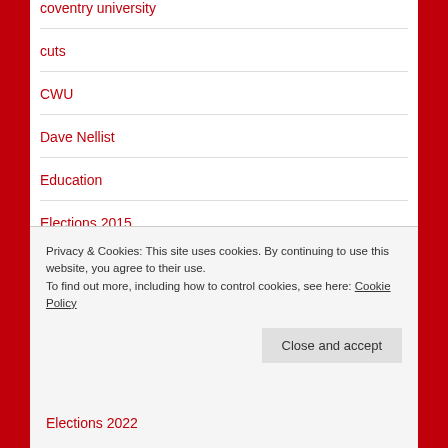coventry university
cuts
CWU
Dave Nellist
Education
Elections 2015
Elections 2016
Elections 2022
Privacy & Cookies: This site uses cookies. By continuing to use this website, you agree to their use. To find out more, including how to control cookies, see here: Cookie Policy
Close and accept